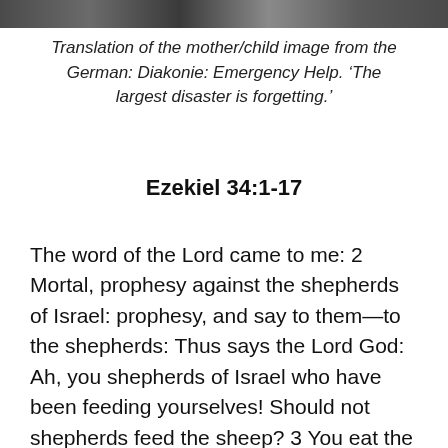[Figure (photo): Partial image strip at top of page showing a mother/child image, partially cropped]
Translation of the mother/child image from the German: Diakonie: Emergency Help. ‘The largest disaster is forgetting.’
Ezekiel 34:1-17
The word of the Lord came to me: 2 Mortal, prophesy against the shepherds of Israel: prophesy, and say to them—to the shepherds: Thus says the Lord God: Ah, you shepherds of Israel who have been feeding yourselves! Should not shepherds feed the sheep? 3 You eat the fat, you clothe yourselves with the wool, you slaughter the fatlings; but you do not feed the sheep. 4 You